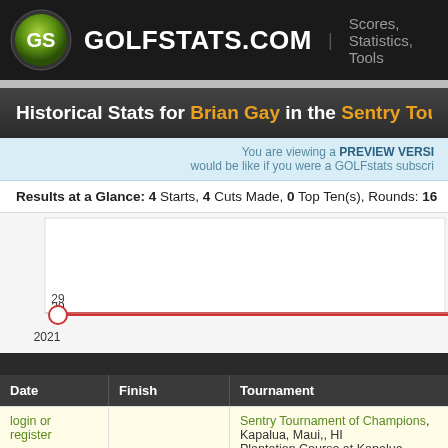GOLFSTATS.COM | Scores, Statistics, Tools
Historical Stats for Brian Gay in the Sentry Tournament of Champions
You are viewing a PREVIEW VERSION of what it would be like if you were a GOLFstats subscriber
Results at a Glance: 4 Starts, 4 Cuts Made, 0 Top Ten(s), Rounds: 16
[Figure (line-chart): Score history]
| Date | Finish | Tournament |
| --- | --- | --- |
| login or register |  | Sentry Tournament of Champions, Kapalua, Maui,, HI Plantation Course at Kapalua, 7,596 Yards, Par 73 |
Sentry Tournament of Champions, Kapalua, Maui,, HI
Plantation Course at Kapalua, 7,596 Yards, Par 73